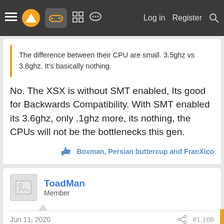Navigation bar with menu, logo, gamepad icon, grid icon, chat icon, Log in, Register, Search
The difference between their CPU are small. 3.5ghz vs 3.8ghz. It's basically nothing.
No. The XSX is without SMT enabled, Its good for Backwards Compatibility. With SMT enabled its 3.6ghz, only .1ghz more, its nothing, the CPUs will not be the bottlenecks this gen.
Boxman, Persian buttercup and FranXico
ToadMan
Member
Jun 11, 2020
#1,168
sinnergy said:
That shit happens, like with the extra 4 gig RAM in PS4, it's also a process that can have set backs or some luck. Like most things in